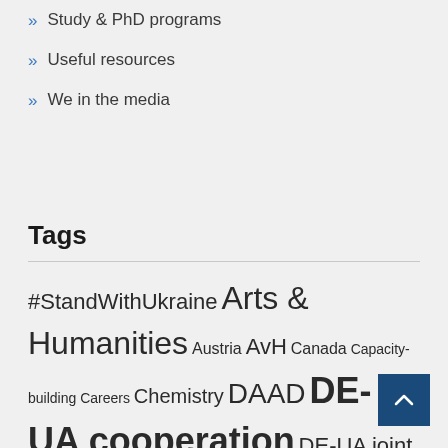Study & PhD programs
Useful resources
We in the media
Tags
#StandWithUkraine Arts & Humanities Austria AvH Canada Capacity-building Careers Chemistry DAAD DE-UA cooperation DE-UA joint projects economics ERC Fellowship Higher Education History horizon 2020 Horizon